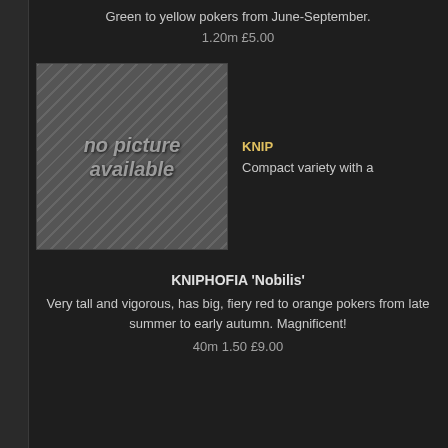Green to yellow pokers from June-September.
1.20m £5.00
[Figure (photo): Placeholder image showing 'no picture available' text over a grayscale flower background, with a partially visible plant catalog entry to the right showing 'KNIP...' and 'Compact variety with...']
KNIPHOFIA 'Nobilis'
Very tall and vigorous, has big, fiery red to orange pokers from late summer to early autumn. Magnificent!
40m 1.50 £9.00